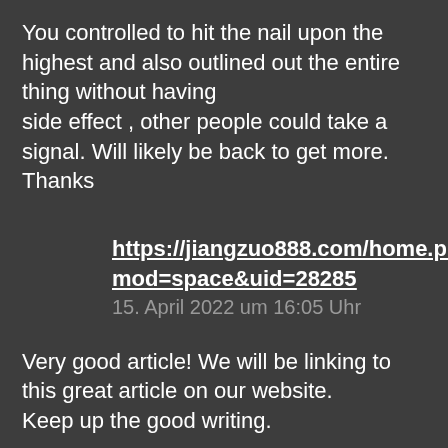You controlled to hit the nail upon the highest and also outlined out the entire thing without having
side effect , other people could take a signal. Will likely be back to get more.
Thanks
https://jiangzuo888.com/home.php?mod=space&uid=28285
15. April 2022 um 16:05 Uhr
Very good article! We will be linking to this great article on our website.
Keep up the good writing.